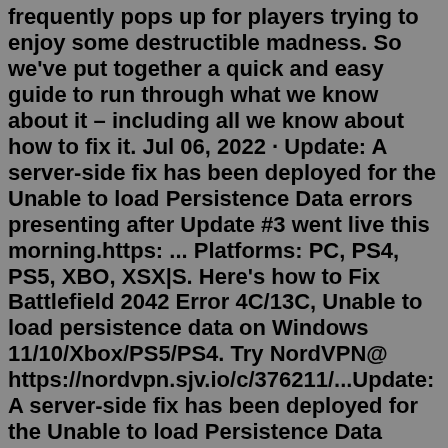frequently pops up for players trying to enjoy some destructible madness. So we've put together a quick and easy guide to run through what we know about it – including all we know about how to fix it. Jul 06, 2022 · Update: A server-side fix has been deployed for the Unable to load Persistence Data errors presenting after Update #3 went live this morning.https: ... Platforms: PC, PS4, PS5, XBO, XSX|S. Here's how to Fix Battlefield 2042 Error 4C/13C, Unable to load persistence data on Windows 11/10/Xbox/PS5/PS4. Try NordVPN@ https://nordvpn.sjv.io/c/376211/...Update: A server-side fix has been deployed for the Unable to load Persistence Data errors presenting after Update #3 went live this morning. ✅ Fix Deployed. We've deployed a fix to ...Dec 31, 2021 · Battlefield 2042 'Unable to Load Persistence Data' fix. Naturally, it is recommended for the fans to check their internet connection. Also, restarting routers could help fix this problem. In fact, the fans could also consider restarting the entire system. If you come across this